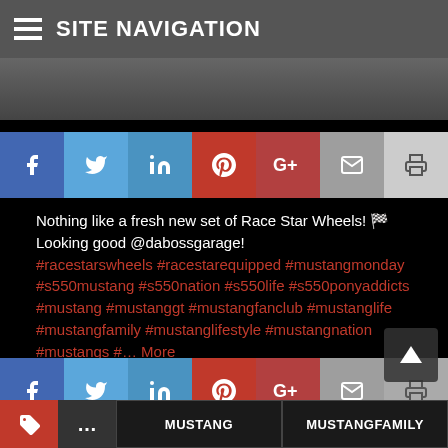SITE NAVIGATION
[Figure (screenshot): Partial dark image strip visible at top]
[Figure (infographic): Social share buttons row: Facebook, Twitter, LinkedIn, Pinterest, Google+, Email, Print]
Nothing like a fresh new set of Race Star Wheels! 🏁 Looking good @dabossgarage! #racestarswheels #racestarequipped #mustangmonday #s550mustang #s550nation #s550life #s550ponyaddicts #mustang #mustanggt #mustangfanclub #mustanglife #mustangfamily #mustanglifestyle #mustangnation #mustangs #... More
[Figure (infographic): Social share buttons row (bottom): Facebook, Twitter, LinkedIn, Pinterest, Google+, Email, Print]
[Figure (infographic): Tag buttons at bottom: tag icon, ellipsis, MUSTANG, MUSTANGFAMILY]